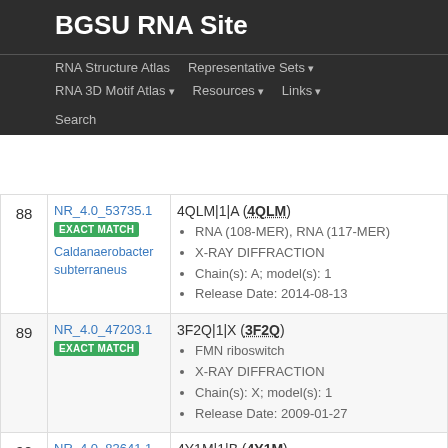BGSU RNA Site
RNA Structure Atlas | Representative Sets ▾ | RNA 3D Motif Atlas ▾ | Resources ▾ | Links ▾ | Search
| # | ID / Match | Details |
| --- | --- | --- |
| 88 | NR_4.0_53735.1 EXACT MATCH Caldanaerobacter subterraneus | 4QLM|1|A (4QLM) • RNA (108-MER), RNA (117-MER) • X-RAY DIFFRACTION • Chain(s): A; model(s): 1 • Release Date: 2014-08-13 |
| 89 | NR_4.0_47203.1 EXACT MATCH | 3F2Q|1|X (3F2Q) • FMN riboswitch • X-RAY DIFFRACTION • Chain(s): X; model(s): 1 • Release Date: 2009-01-27 |
| 90 | NR_4.0_83641.1 EXACT MATCH | 4Y1M|1|B (4Y1M) • E. coli yybP-ykoY riboswitch |